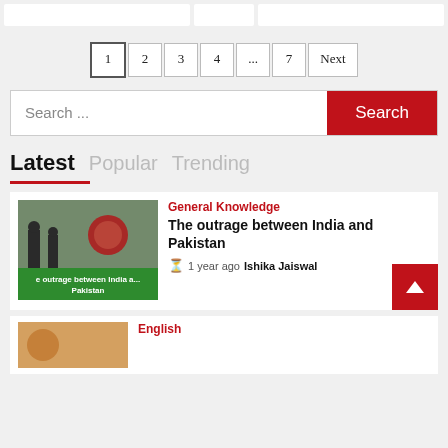[Figure (screenshot): Top white content cards partially visible]
Pagination: 1 2 3 4 ... 7 Next
Search...  [Search button]
Latest  Popular  Trending
[Figure (photo): Photo of military/parade scene with banner: outrage between India and Pakistan]
General Knowledge
The outrage between India and Pakistan
1 year ago  Ishika Jaiswal
English